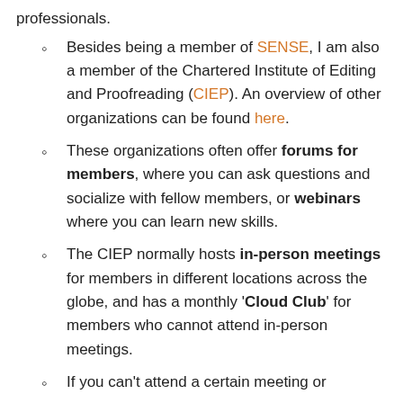professionals.
Besides being a member of SENSE, I am also a member of the Chartered Institute of Editing and Proofreading (CIEP). An overview of other organizations can be found here.
These organizations often offer forums for members, where you can ask questions and socialize with fellow members, or webinars where you can learn new skills.
The CIEP normally hosts in-person meetings for members in different locations across the globe, and has a monthly 'Cloud Club' for members who cannot attend in-person meetings.
If you can't attend a certain meeting or